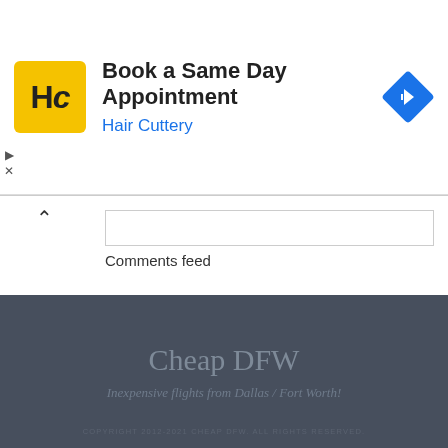[Figure (screenshot): Advertisement banner for Hair Cuttery: 'Book a Same Day Appointment' with Hair Cuttery logo and navigation arrow icon]
Comments feed
WordPress.org
Cheap DFW
Inexpensive flights from Dallas / Fort Worth!
COPYRIGHT 2012-2021 CHEAP DFW. ALL RIGHTS RESERVED.